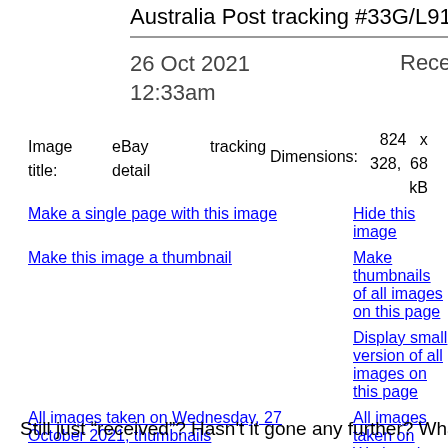Australia Post tracking #33G/L9115...
26 Oct 2021  12:33am    Received and ready for p...
Image title:    eBay detail    tracking    Dimensions:    824 x 328, 68 kB
Make a single page with this image
Hide this image
Make this image a thumbnail
Make thumbnails of all images on this page
Display small version of all images on this page
All images taken on Wednesday, 27 October 2021, thumbnails
All images taken on Wednesday, 27 October 2021, small
Diary entry for Wednesday, 27 October 2021
Complete exposure details
Still just “received”? Hasn't it gone any further? What does Aus...